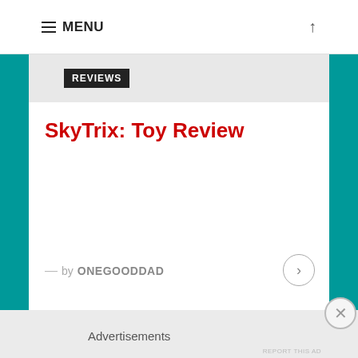MENU
REVIEWS
SkyTrix: Toy Review
— by ONEGOODDAD
Advertisements
REPORT THIS AD